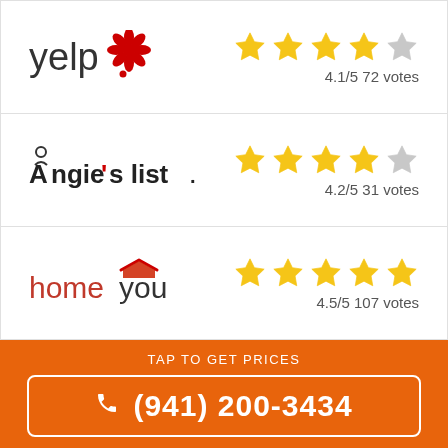[Figure (infographic): Yelp logo with red burst icon and rating: 4.1/5 72 votes with 4 gold stars and 1 gray star]
[Figure (infographic): Angie's list logo in bold black with rating: 4.2/5 31 votes with 4 gold stars and 1 gray star]
[Figure (infographic): homeyou logo in red/dark with rating: 4.5/5 107 votes with 5 gold stars]
TAP TO GET PRICES
(941) 200-3434